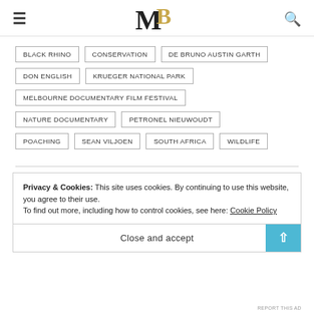MB logo with hamburger menu and search icon
BLACK RHINO
CONSERVATION
DE BRUNO AUSTIN GARTH
DON ENGLISH
KRUEGER NATIONAL PARK
MELBOURNE DOCUMENTARY FILM FESTIVAL
NATURE DOCUMENTARY
PETRONEL NIEUWOUDT
POACHING
SEAN VILJOEN
SOUTH AFRICA
WILDLIFE
Privacy & Cookies: This site uses cookies. By continuing to use this website, you agree to their use.
To find out more, including how to control cookies, see here: Cookie Policy
Close and accept